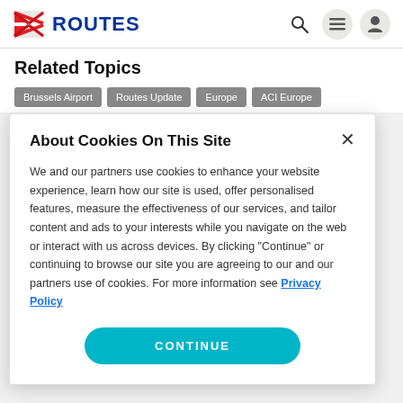ROUTES
Related Topics
Brussels Airport
Routes Update
Europe
ACI Europe
About Cookies On This Site
We and our partners use cookies to enhance your website experience, learn how our site is used, offer personalised features, measure the effectiveness of our services, and tailor content and ads to your interests while you navigate on the web or interact with us across devices. By clicking "Continue" or continuing to browse our site you are agreeing to our and our partners use of cookies. For more information see Privacy Policy